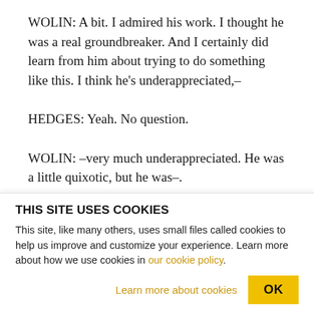WOLIN: A bit. I admired his work. I thought he was a real groundbreaker. And I certainly did learn from him about trying to do something like this. I think he's underappreciated,–
HEDGES: Yeah. No question.
WOLIN: –very much underappreciated. He was a little quixotic, but he was–.
HEDGES: You know, there are certain things about...
THIS SITE USES COOKIES
This site, like many others, uses small files called cookies to help us improve and customize your experience. Learn more about how we use cookies in our cookie policy.
Learn more about cookies
OK